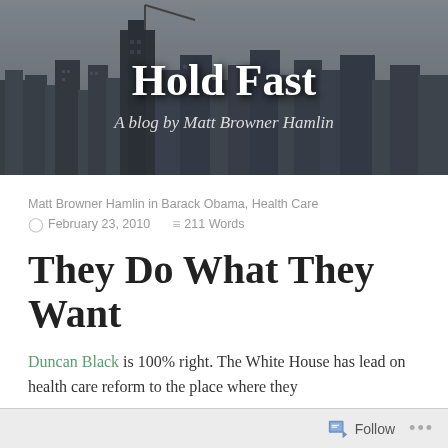[Figure (photo): Grayscale aerial cityscape photo with skyscrapers used as blog header background]
Hold Fast
A blog by Matt Browner Hamlin
Matt Browner Hamlin in Barack Obama, Health Care
February 23, 2010   211 Words
They Do What They Want
Duncan Black is 100% right. The White House has lead on health care reform to the place where they
Follow